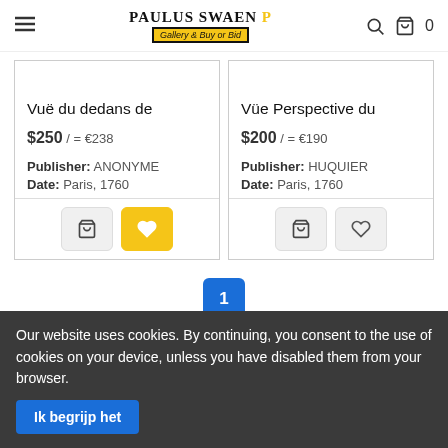Paulus Swaen Gallery & Buy or Bid
Vuë du dedans de
$250 / = €238
Publisher: ANONYME
Date: Paris, 1760
Vüe Perspective du
$200 / = €190
Publisher: HUQUIER
Date: Paris, 1760
1
Our website uses cookies. By continuing, you consent to the use of cookies on your device, unless you have disabled them from your browser.
Ik begrijp het